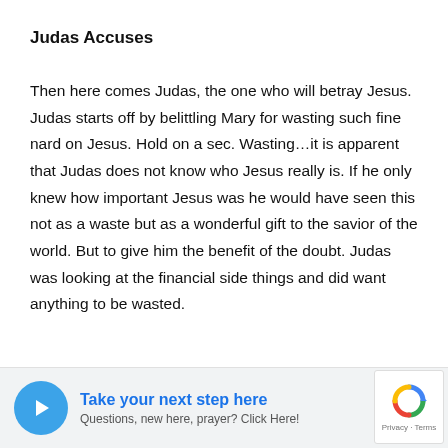Judas Accuses
Then here comes Judas, the one who will betray Jesus. Judas starts off by belittling Mary for wasting such fine nard on Jesus. Hold on a sec. Wasting…it is apparent that Judas does not know who Jesus really is. If he only knew how important Jesus was he would have seen this not as a waste but as a wonderful gift to the savior of the world. But to give him the benefit of the doubt. Judas was looking at the financial side things and did want anything to be wasted.
[Figure (other): Call-to-action footer bar with blue circular icon showing a forward arrow, bold blue text 'Take your next step here', subtitle 'Questions, new here, prayer? Click Here!', and a reCAPTCHA badge on the right.]